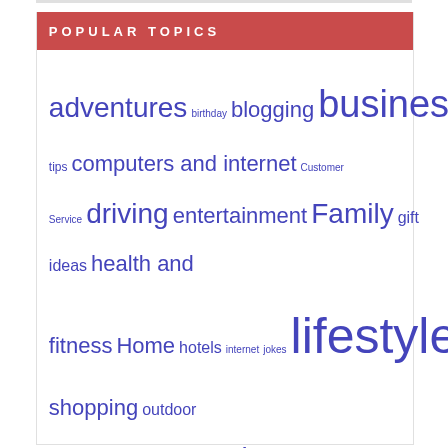POPULAR TOPICS
adventures birthday blogging business business tips computers and internet Customer Service driving entertainment Family gift ideas health and fitness Home hotels internet jokes lifestyle money Occasion Oklahoma online shopping outdoor activities party personal Philippines Restaurants road travel shopping special events summer getaway Technology Texas tourism transportation travel traveling traveling with kids travel items travel